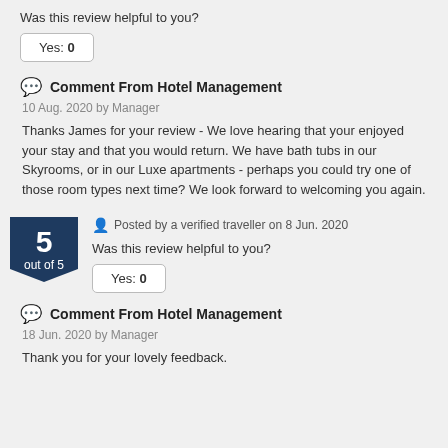Was this review helpful to you?
Yes: 0
Comment From Hotel Management
10 Aug. 2020 by Manager
Thanks James for your review - We love hearing that your enjoyed your stay and that you would return. We have bath tubs in our Skyrooms, or in our Luxe apartments - perhaps you could try one of those room types next time? We look forward to welcoming you again.
5 out of 5
Posted by a verified traveller on 8 Jun. 2020
Was this review helpful to you?
Yes: 0
Comment From Hotel Management
18 Jun. 2020 by Manager
Thank you for your lovely feedback.